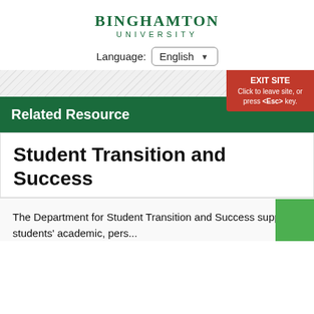[Figure (logo): Binghamton University logo with text]
Language: English
Related Resource
Student Transition and Success
The Department for Student Transition and Success supports students' academic, pers...